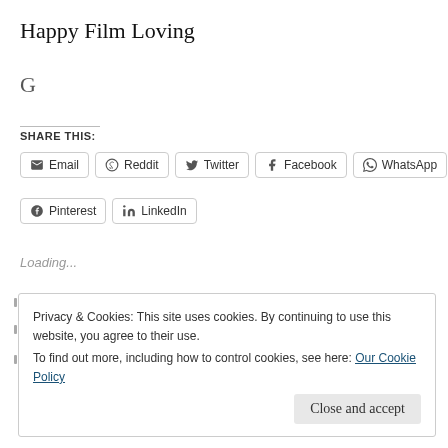Happy Film Loving
G
SHARE THIS:
Email  Reddit  Twitter  Facebook  WhatsApp  Pinterest  LinkedIn
Loading...
Privacy & Cookies: This site uses cookies. By continuing to use this website, you agree to their use. To find out more, including how to control cookies, see here: Our Cookie Policy
Close and accept